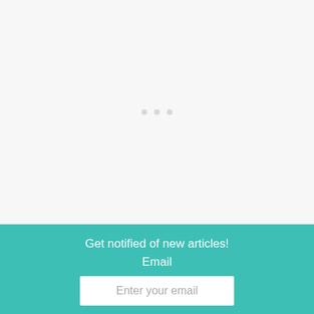[Figure (other): Light gray loading area with three small gray dots in the center, indicating a loading or spinner state]
Get notified of new articles!
Email
Enter your email